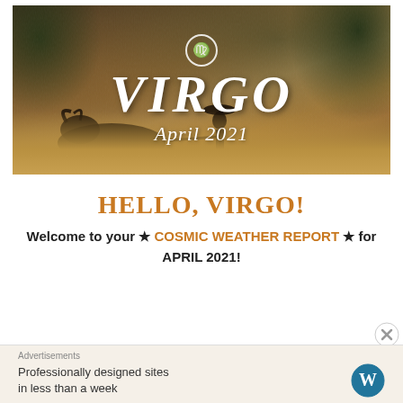[Figure (photo): Dark sepia-toned photo of a farmer plowing a field with a water buffalo in rain, with trees in background. Overlaid white text shows the Virgo zodiac symbol in a circle, 'VIRGO' in large italic letters, and 'April 2021' in script beneath.]
HELLO, VIRGO!
Welcome to your ★ COSMIC WEATHER REPORT ★ for APRIL 2021!
Advertisements
Professionally designed sites in less than a week